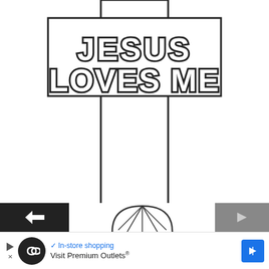[Figure (illustration): Black and white coloring page illustration of a Christian cross with a banner reading 'JESUS LOVES ME' at the top, and three lily flowers at the base of the cross.]
[Figure (screenshot): Bottom UI strip showing navigation buttons on left and right, a partially visible circular image in the center, and an advertisement bar for 'Visit Premium Outlets' with a play button icon, checkmark 'In-store shopping' text, and a blue navigation arrow icon.]